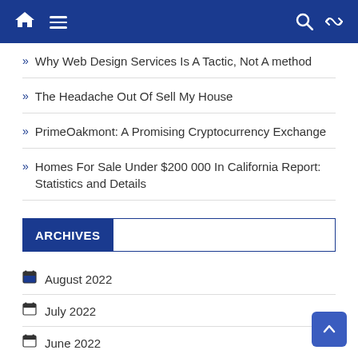Navigation bar with home, menu, search, and shuffle icons
Why Web Design Services Is A Tactic, Not A method
The Headache Out Of Sell My House
PrimeOakmont: A Promising Cryptocurrency Exchange
Homes For Sale Under $200 000 In California Report: Statistics and Details
ARCHIVES
August 2022
July 2022
June 2022
April 2022